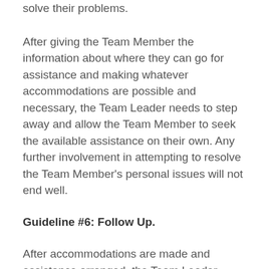solve their problems.
After giving the Team Member the information about where they can go for assistance and making whatever accommodations are possible and necessary, the Team Leader needs to step away and allow the Team Member to seek the available assistance on their own. Any further involvement in attempting to resolve the Team Member's personal issues will not end well.
Guideline #6: Follow Up.
After accommodations are made and assistance arranged, the Team Leader